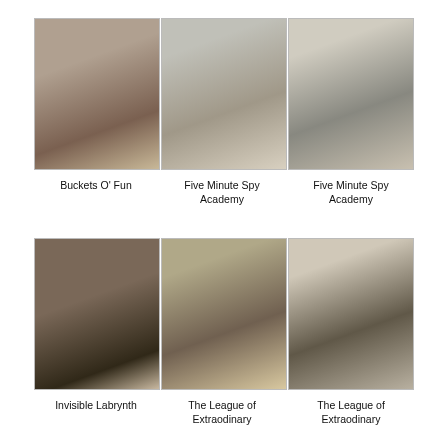[Figure (photo): Three photos side by side showing children and adults in a gymnasium/hall. Left: colorful items on floor with people. Middle: adult and child interacting. Right: two people posing/stretching.]
Buckets O' Fun
Five Minute Spy Academy
Five Minute Spy Academy
[Figure (photo): Three photos side by side showing indoor activities. Left: person holding large object. Middle: two people sitting together in sunlit room. Right: group of people in a hall with presenter.]
Invisible Labrynth
The League of Extraodinary
The League of Extraodinary